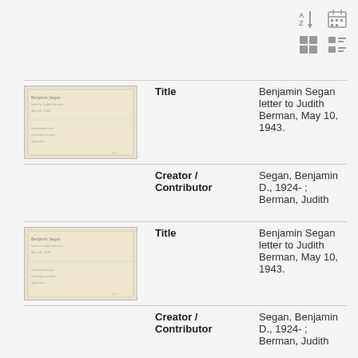[Figure (infographic): Toolbar icons: A-Z sort, calendar, grid view, list view]
| Thumbnail | Field | Value |
| --- | --- | --- |
| [image] | Title | Benjamin Segan letter to Judith Berman, May 10, 1943. |
|  | Creator / Contributor | Segan, Benjamin D., 1924- ; Berman, Judith |
| [image] | Title | Benjamin Segan letter to Judith Berman, May 10, 1943. |
|  | Creator / Contributor | Segan, Benjamin D., 1924- ; Berman, Judith |
| [image] | Title | Benjamin Segan letter to Judith Berman, May 11, 1943. |
|  | Creator / Contributor | Segan, Benjamin D., 1924- ; Berman, Judith |